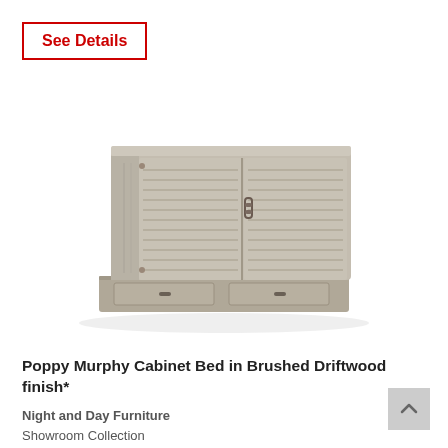See Details
[Figure (photo): Murphy cabinet bed in brushed driftwood finish, shown closed as a horizontal cabinet with louvered panel doors and a bottom drawer on a plinth base.]
Poppy Murphy Cabinet Bed in Brushed Driftwood finish*
Night and Day Furniture
Showroom Collection